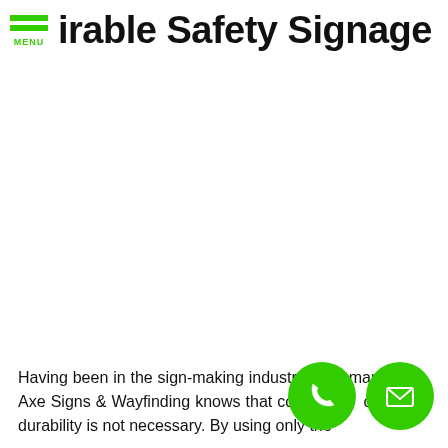MENU  irable Safety Signage
Having been in the sign-making industry for many years, Axe Signs & Wayfinding knows that com... sin... or single-durability is not necessary. By using only the...